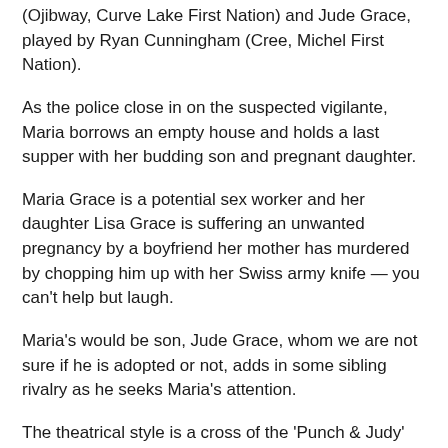(Ojibway, Curve Lake First Nation) and Jude Grace, played by Ryan Cunningham (Cree, Michel First Nation).
As the police close in on the suspected vigilante, Maria borrows an empty house and holds a last supper with her budding son and pregnant daughter.
Maria Grace is a potential sex worker and her daughter Lisa Grace is suffering an unwanted pregnancy by a boyfriend her mother has murdered by chopping him up with her Swiss army knife — you can't help but laugh.
Maria's would be son, Jude Grace, whom we are not sure if he is adopted or not, adds in some sibling rivalry as he seeks Maria's attention.
The theatrical style is a cross of the 'Punch & Judy' parody-like style of traditional of production company 'VIDEOCAB'